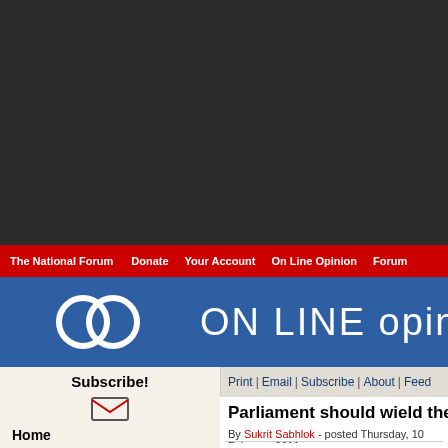ON LINE opinion
The National Forum | Donate | Your Account | On Line Opinion | Forum
Subscribe!
Home
Economics
Environment
Features
Health
International
Leisure
People
Politics
Technology
Print | Email | Subscribe | About | Feed
Parliament should wield the w...
By Sukrit Sabhlok - posted Thursday, 10 February 2011
Australian forces invaded Afghanistan in 2001. Unlike the withdrawal of troops from Iraq, our involvement in Afghanistan (allegedly to fight terrorism) is perpetual war. The mainstream media gives the ongoing financial cost of the war, but there are good reasons we shouldn't forget the conflict.
Consider this: Australia's military involvement in World War I lasted for seven years. The danger posed by terrorism is miniscule compared to that war. Has the war in Afghanistan lasted for a longer period of time?